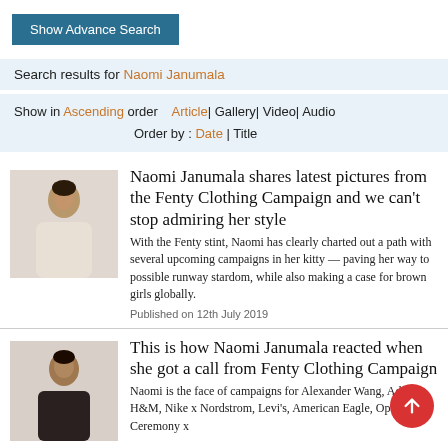Show Advance Search
Search results for Naomi Janumala
Show in Ascending order  Article| Gallery| Video| Audio  Order by : Date | Title
Naomi Janumala shares latest pictures from the Fenty Clothing Campaign and we can't stop admiring her style
With the Fenty stint, Naomi has clearly charted out a path with several upcoming campaigns in her kitty — paving her way to possible runway stardom, while also making a case for brown girls globally.
Published on 12th July 2019
This is how Naomi Janumala reacted when she got a call from Fenty Clothing Campaign
Naomi is the face of campaigns for Alexander Wang, Adidas, H&M, Nike x Nordstrom, Levi's, American Eagle, Opening Ceremony x